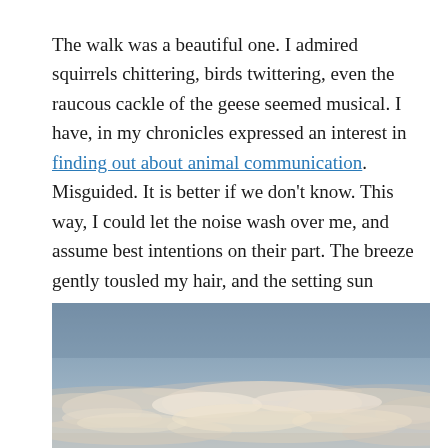The walk was a beautiful one. I admired squirrels chittering, birds twittering, even the raucous cackle of the geese seemed musical. I have, in my chronicles expressed an interest in finding out about animal communication. Misguided. It is better if we don't know. This way, I could let the noise wash over me, and assume best intentions on their part. The breeze gently tousled my hair, and the setting sun threw brilliant hues across the scattered clouds.
[Figure (photo): A photograph of a sky at or near sunset with scattered clouds. The sky is a muted blue-grey tone with light wispy clouds illuminated from below with warm golden-cream tones. The clouds are layered across the lower portion of the image against the blue-grey sky.]